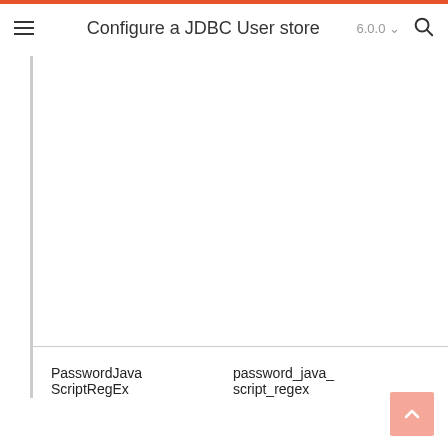Configure a JDBC User store  6.0.0
| PasswordJavaScriptRegEx | password_java_script_regex |
| --- | --- |